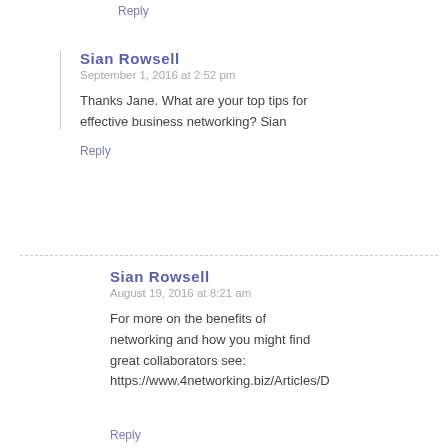Reply
Sian Rowsell
September 1, 2016 at 2:52 pm
Thanks Jane. What are your top tips for effective business networking? Sian
Reply
Sian Rowsell
August 19, 2016 at 8:21 am
For more on the benefits of networking and how you might find great collaborators see: https://www.4networking.biz/Articles/D
Reply